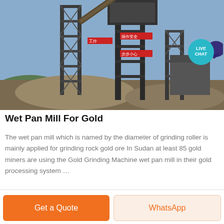[Figure (photo): Industrial mining facility with steel scaffolding structure, conveyor belts, and Chinese safety signage banners. Heavy machinery and gravel piles visible.]
Wet Pan Mill For Gold
The wet pan mill which is named by the diameter of grinding roller is mainly applied for grinding rock gold ore In Sudan at least 85 gold miners are using the Gold Grinding Machine wet pan mill in their gold processing system …